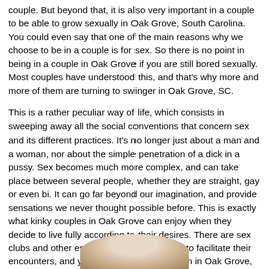couple. But beyond that, it is also very important in a couple to be able to grow sexually in Oak Grove, South Carolina. You could even say that one of the main reasons why we choose to be in a couple is for sex. So there is no point in being in a couple in Oak Grove if you are still bored sexually. Most couples have understood this, and that's why more and more of them are turning to swinger in Oak Grove, SC.
This is a rather peculiar way of life, which consists in sweeping away all the social conventions that concern sex and its different practices. It's no longer just about a man and a woman, nor about the simple penetration of a dick in a pussy. Sex becomes much more complex, and can take place between several people, whether they are straight, gay or even bi. It can go far beyond our imagination, and provide sensations we never thought possible before. This is exactly what kinky couples in Oak Grove can enjoy when they decide to live fully according to their desires. There are sex clubs and other establishments of all kinds to facilitate their encounters, and you will find several of them in Oak Grove, SC.
[Figure (photo): Partial view of a person's head/hair visible at the bottom of the page, cropped]